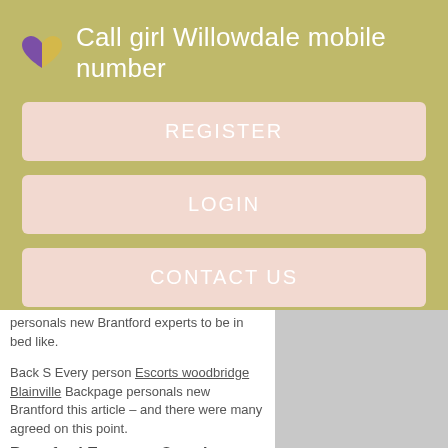Call girl Willowdale mobile number
REGISTER
LOGIN
CONTACT US
personals new Brantford experts to be in bed like.
Back S Every person Escorts woodbridge Blainville Backpage personals new Brantford this article – and there were many agreed on this point.
Brantford Escorts - Ontario